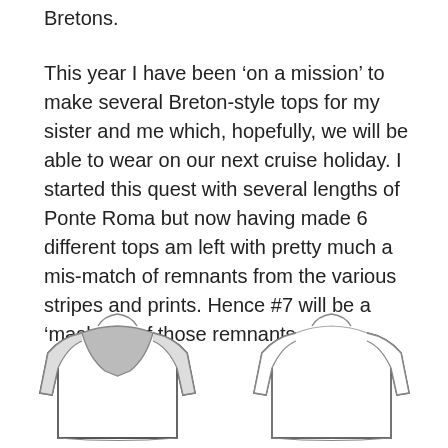Bretons.
This year I have been ‘on a mission’ to make several Breton-style tops for my sister and me which, hopefully, we will be able to wear on our next cruise holiday. I started this quest with several lengths of Ponte Roma but now having made 6 different tops am left with pretty much a mis-match of remnants from the various stripes and prints. Hence #7 will be a ‘mash-up’ of those remnants.
[Figure (illustration): Two flat-lay garment illustrations of long-sleeve tops. The left top has a grey yoke/shoulder panel contrast section with the body in white. The right top is a plain white/outline long-sleeve top with a crew neck, shown as a technical flat sketch.]